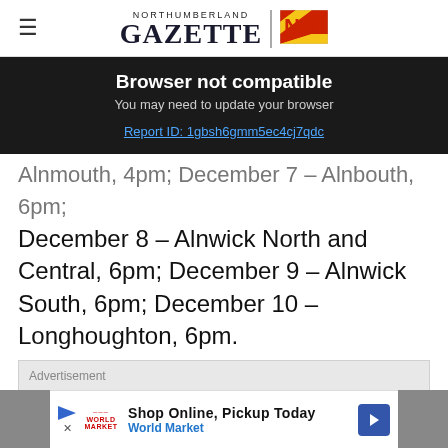NORTHUMBERLAND GAZETTE
[Figure (screenshot): Browser not compatible banner with dark background. Title: 'Browser not compatible'. Subtitle: 'You may need to update your browser'. Link: 'Report ID: 1gbsh6gmm5ec4cj7qdc']
Alnmouth, 4pm; December 7 – Alnbouth, 6pm; December 8 – Alnwick North and Central, 6pm; December 9 – Alnwick South, 6pm; December 10 – Longhoughton, 6pm.
[Figure (other): Advertisement placeholder box]
[Figure (other): Bottom advertisement bar: Shop Online, Pickup Today – World Market]